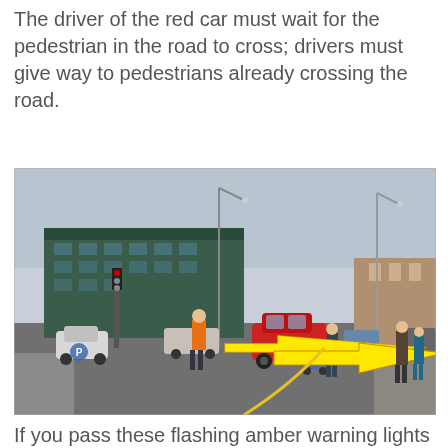The driver of the red car must wait for the pedestrian in the road to cross; drivers must give way to pedestrians already crossing the road.
[Figure (photo): Street scene showing a busy road with a red car stopped, a pedestrian with a pram crossing the road, and a large yellow arrow pointing left toward the pedestrian. Buildings and street lights are visible in the background.]
If you pass these flashing amber warning lights